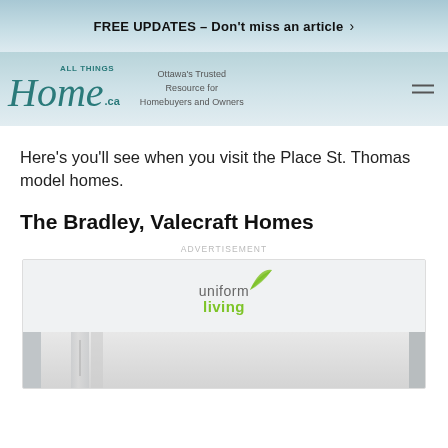FREE UPDATES – Don't miss an article >
[Figure (logo): All Things Home .ca logo with tagline: Ottawa's Trusted Resource for Homebuyers and Owners]
Here's you'll see when you visit the Place St. Thomas model homes.
The Bradley, Valecraft Homes
ADVERTISEMENT
[Figure (photo): Advertisement image showing a room interior with 'uniform living' logo overlay]